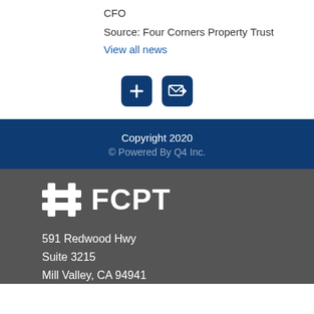CFO
Source: Four Corners Property Trust
View all news
[Figure (infographic): Two dark navy icon buttons: a plus sign button and an email/share button]
Copyright 2020
© Powered By Q4 Inc.
[Figure (logo): FCPT logo with hash symbol in white on dark grey background]
591 Redwood Hwy
Suite 3215
Mill Valley, CA 94941